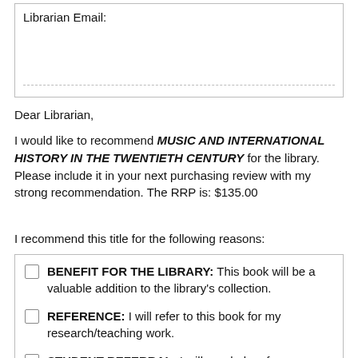Librarian Email:
Dear Librarian,
I would like to recommend MUSIC AND INTERNATIONAL HISTORY IN THE TWENTIETH CENTURY for the library. Please include it in your next purchasing review with my strong recommendation. The RRP is: $135.00
I recommend this title for the following reasons:
BENEFIT FOR THE LIBRARY: This book will be a valuable addition to the library's collection.
REFERENCE: I will refer to this book for my research/teaching work.
STUDENT REFERRAL: I will regularly refer my students to the book to assist their studies.